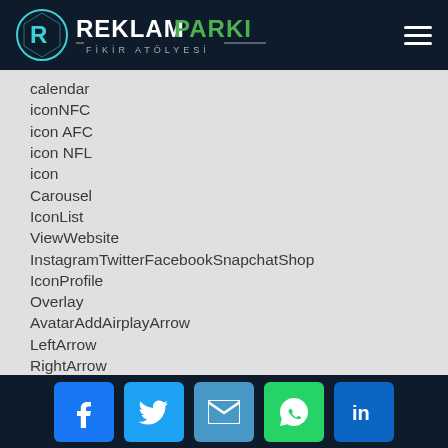[Figure (logo): ReklamParki Fikir Atolyesi logo with circular R icon on dark navy background]
calendar
iconNFC
icon AFC
icon NFL
icon
Carousel
IconList
ViewWebsite
InstagramTwitterFacebookSnapchatShop
IconProfile
Overlay
AvatarAddAirplayArrow
LeftArrow
RightArrow
UpArrow
DownAudioBack
[Figure (infographic): Social media icon buttons: Facebook, Twitter, Email, WhatsApp, LinkedIn on dark navy footer bar]